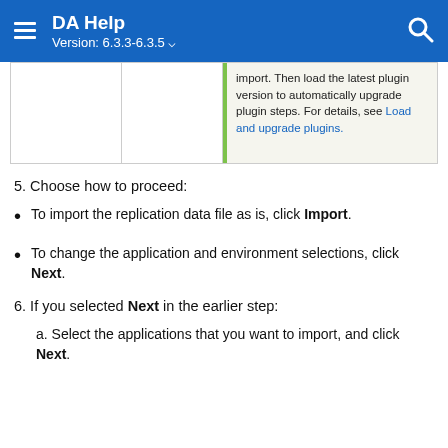DA Help Version: 6.3.3-6.3.5
|  |  | import. Then load the latest plugin version to automatically upgrade plugin steps. For details, see Load and upgrade plugins. |
5. Choose how to proceed:
To import the replication data file as is, click Import.
To change the application and environment selections, click Next.
6. If you selected Next in the earlier step:
a. Select the applications that you want to import, and click Next.